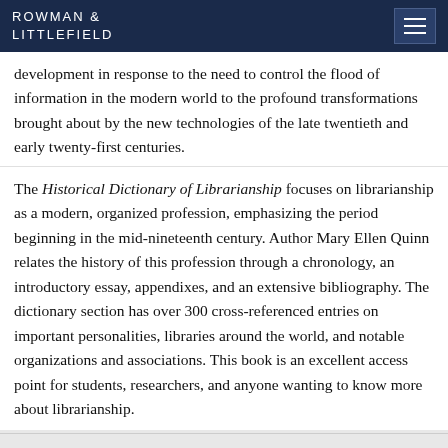ROWMAN & LITTLEFIELD
development in response to the need to control the flood of information in the modern world to the profound transformations brought about by the new technologies of the late twentieth and early twenty-first centuries.
The Historical Dictionary of Librarianship focuses on librarianship as a modern, organized profession, emphasizing the period beginning in the mid-nineteenth century. Author Mary Ellen Quinn relates the history of this profession through a chronology, an introductory essay, appendixes, and an extensive bibliography. The dictionary section has over 300 cross-referenced entries on important personalities, libraries around the world, and notable organizations and associations. This book is an excellent access point for students, researchers, and anyone wanting to know more about librarianship.